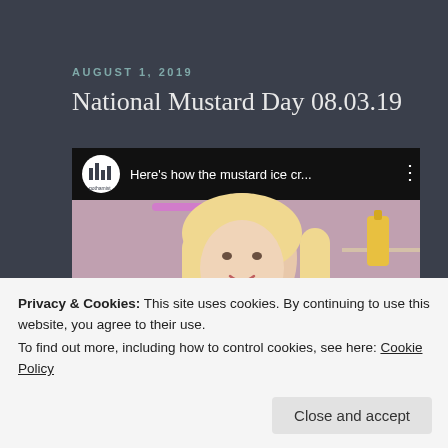AUGUST 1, 2019
National Mustard Day 08.03.19
[Figure (screenshot): YouTube video thumbnail showing a blonde woman in a kitchen, with Gothamist logo circle, video title 'Here's how the mustard ice cr...' and YouTube play button overlay]
Privacy & Cookies: This site uses cookies. By continuing to use this website, you agree to their use.
To find out more, including how to control cookies, see here: Cookie Policy
Close and accept